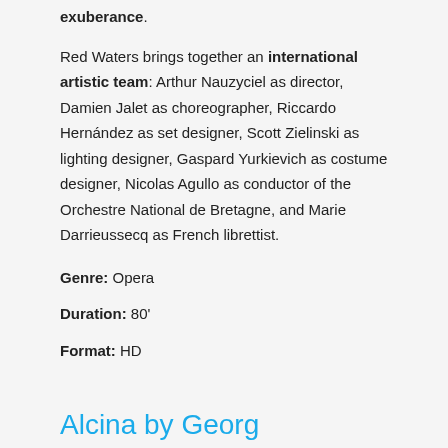exuberance.
Red Waters brings together an international artistic team: Arthur Nauzyciel as director, Damien Jalet as choreographer, Riccardo Hernández as set designer, Scott Zielinski as lighting designer, Gaspard Yurkievich as costume designer, Nicolas Agullo as conductor of the Orchestre National de Bretagne, and Marie Darrieussecq as French librettist.
Genre: Opera
Duration: 80'
Format: HD
Alcina by Georg Friedrich Haendel